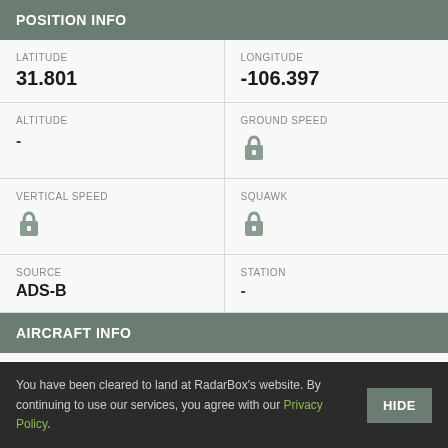POSITION INFO
| LATITUDE | LONGITUDE |
| --- | --- |
| 31.801 | -106.397 |
| ALTITUDE | GROUND SPEED |
| --- | --- |
| - | [lock] |
| VERTICAL SPEED | SQUAWK |
| --- | --- |
| [lock] | [lock] |
| SOURCE | STATION |
| --- | --- |
| ADS-B | - |
AIRCRAFT INFO
| AIRCRAFT MODEL |
| --- |
| Airbus A321-231 |
You have been cleared to land at RadarBox's website. By continuing to use our services, you agree with our Privacy Policy.